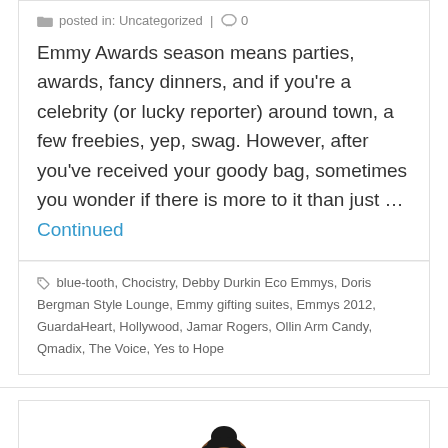posted in: Uncategorized | 0
Emmy Awards season means parties, awards, fancy dinners, and if you're a celebrity (or lucky reporter) around town, a few freebies, yep, swag. However, after you've received your goody bag, sometimes you wonder if there is more to it than just … Continued
blue-tooth, Chocistry, Debby Durkin Eco Emmys, Doris Bergman Style Lounge, Emmy gifting suites, Emmys 2012, GuardaHeart, Hollywood, Jamar Rogers, Ollin Arm Candy, Qmadix, The Voice, Yes to Hope
[Figure (illustration): Cartoon illustration of a Black woman in a pink blazer holding a clipboard or notepad, with hair in a bun, smiling and appearing to take notes.]